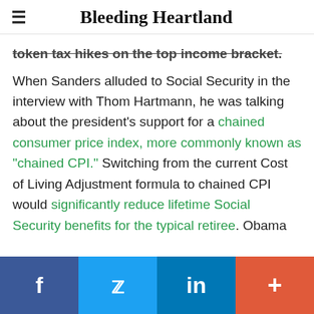≡  Bleeding Heartland
token tax hikes on the top income bracket.
When Sanders alluded to Social Security in the interview with Thom Hartmann, he was talking about the president's support for a chained consumer price index, more commonly known as "chained CPI." Switching from the current Cost of Living Adjustment formula to chained CPI would significantly reduce lifetime Social Security benefits for the typical retiree. Obama
f  🐦  in  +